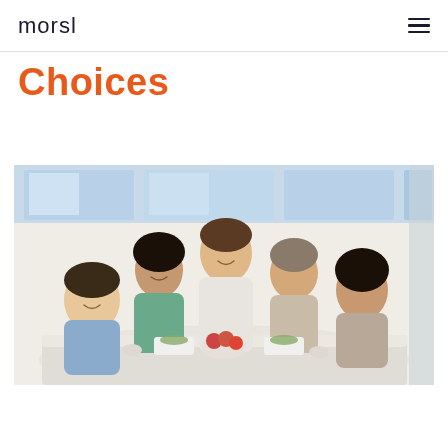morsl
Choices
[Figure (photo): Five diverse colleagues sitting around a white table sharing a meal together in a bright office or cafeteria setting, laughing and eating salads, sushi, and fruit. One man leans over the table smiling.]